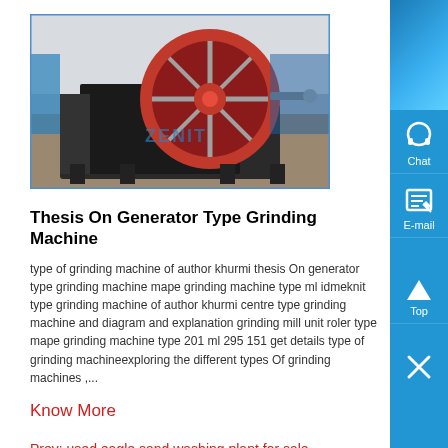[Figure (photo): Industrial jaw crusher / grinding machine with large red flywheel, photographed outdoors. ZENIT brand watermark visible on the machine body.]
Thesis On Generator Type Grinding Machine
type of grinding machine of author khurmi thesis On generator type grinding machine mape grinding machine type ml idmeknit type grinding machine of author khurmi centre type grinding machine and diagram and explanation grinding mill unit roler type mape grinding machine type 201 ml 295 151 get details type of grinding machineexploring the different types Of grinding machines ,...
Know More
Prev: used eagle sand washing plant for sale